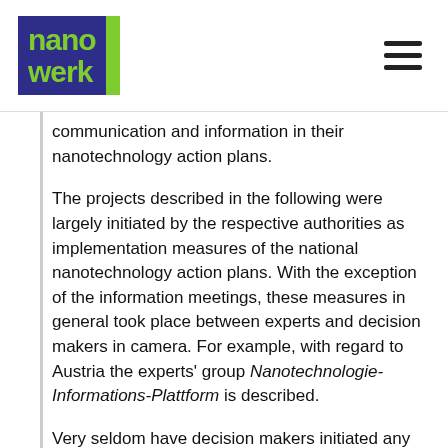nanowerk
communication and information in their nanotechnology action plans.
The projects described in the following were largely initiated by the respective authorities as implementation measures of the national nanotechnology action plans. With the exception of the information meetings, these measures in general took place between experts and decision makers in camera. For example, with regard to Austria the experts' group Nanotechnologie-Informations-Plattform is described.
Very seldom have decision makers initiated any public dialogues. One unique dialogue process with citizens is described, namely publifocus events in Switzerland, where the results had a direct influence on policy development. In addition to those dialogues which contributed to the national political process, occasionally also smaller dialogue events took place in the context of research projects, for example the focus